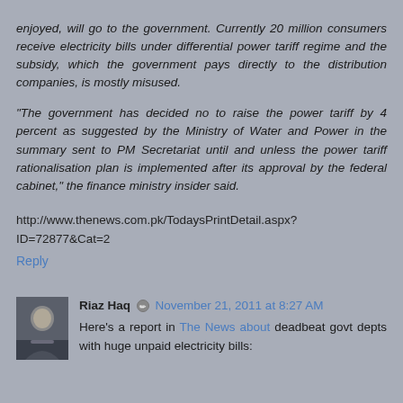enjoyed, will go to the government. Currently 20 million consumers receive electricity bills under differential power tariff regime and the subsidy, which the government pays directly to the distribution companies, is mostly misused.
“The government has decided no to raise the power tariff by 4 percent as suggested by the Ministry of Water and Power in the summary sent to PM Secretariat until and unless the power tariff rationalisation plan is implemented after its approval by the federal cabinet,” the finance ministry insider said.
http://www.thenews.com.pk/TodaysPrintDetail.aspx?ID=72877&Cat=2
Reply
Riaz Haq ✏ November 21, 2011 at 8:27 AM
Here’s a report in The News about deadbeat govt depts with huge unpaid electricity bills: